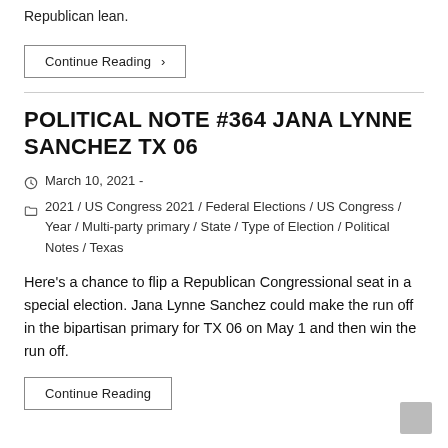Republican lean.
Continue Reading ›
POLITICAL NOTE #364 JANA LYNNE SANCHEZ TX 06
March 10, 2021 -
2021 / US Congress 2021 / Federal Elections / US Congress / Year / Multi-party primary / State / Type of Election / Political Notes / Texas
Here's a chance to flip a Republican Congressional seat in a special election. Jana Lynne Sanchez could make the run off in the bipartisan primary for TX 06 on May 1 and then win the run off.
Continue Reading